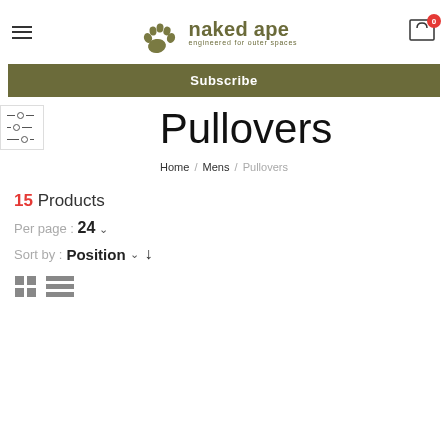[Figure (logo): Naked Ape logo with handprint icon and text 'naked ape engineered for outer spaces']
Subscribe
Pullovers
Home / Mens / Pullovers
15 Products
Per page : 24
Sort by : Position
[Figure (other): Grid and list view toggle icons]